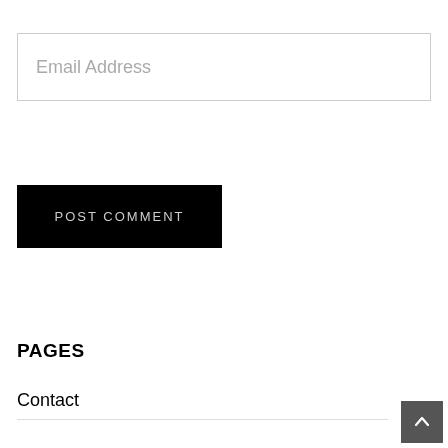Email Address
POST COMMENT
PAGES
Contact